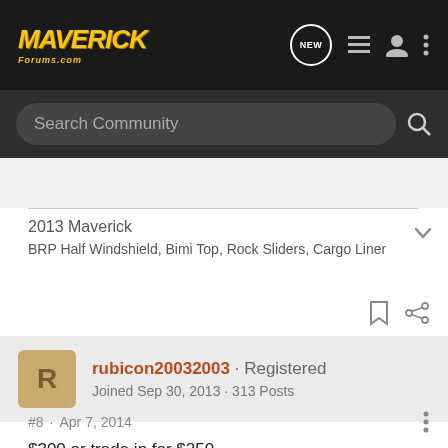MAVERICK Forums · NEW · list icon · user icon · more icon
Search Community
2013 Maverick
BRP Half Windshield, Bimi Top, Rock Sliders, Cargo Liner
rubicon20032003 · Registered
Joined Sep 30, 2013 · 313 Posts
#8 · Apr 7, 2014
$300 or trade in for $250